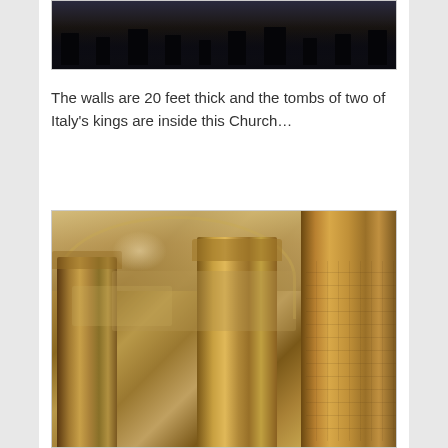[Figure (photo): Top portion of an indoor crowd photo showing silhouettes of people at the bottom against a dark background, partially visible at the top of the page]
The walls are 20 feet thick and the tombs of two of Italy's kings are inside this Church…
[Figure (photo): Interior of what appears to be the Pantheon in Rome, showing large Corinthian columns in warm golden/brown tones, with an arched ceiling and decorative architectural details visible in the background]